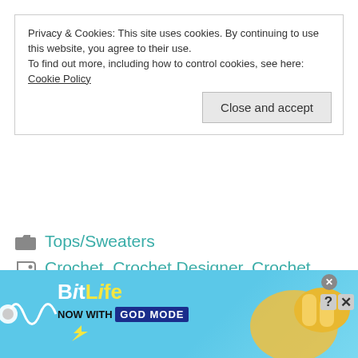Privacy & Cookies: This site uses cookies. By continuing to use this website, you agree to their use.
To find out more, including how to control cookies, see here: Cookie Policy
Close and accept
Tops/Sweaters
Crochet, Crochet Designer, Crochet Pattern, Crochet Patterns, crochet top pattern, Crochet Tutorial, Free Crochet Pattern, free crochet sweater pattern, free crochet top pattern, free crochet
[Figure (screenshot): BitLife advertisement banner: light blue background with BitLife logo, 'NOW WITH GOD MODE' text, pointing hand graphic, close and help buttons]